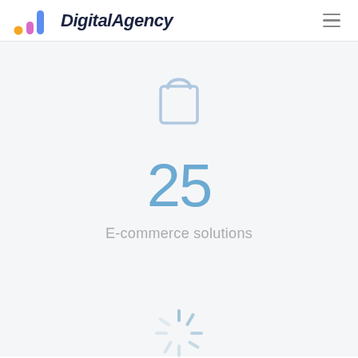[Figure (logo): DigitalAgency logo with colorful bar chart icon and italic bold text]
[Figure (illustration): Light blue shopping bag icon outline]
25
E-commerce solutions
[Figure (illustration): Light blue loading spinner icon]